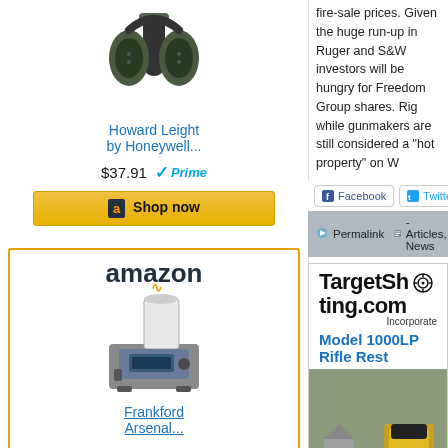[Figure (photo): Howard Leight by Honeywell electronic ear muffs product image]
Howard Leight by Honeywell...
$37.91  ✓Prime
a  Shop now
[Figure (logo): Amazon logo with smile]
[Figure (photo): Frankford Arsenal reloading equipment product image]
Frankford Arsenal...
fire-sale prices. Given the huge run-up in Ruger and S&W investors will be hungry for Freedom Group shares. Rig while gunmakers are still considered a "hot property" on W
Facebook  Twitter  Google+
Permalink  - Articles, News  13 Comment...
[Figure (photo): TargetShooting.com advertisement banner with Model 1000LP Rifle Rest product image]